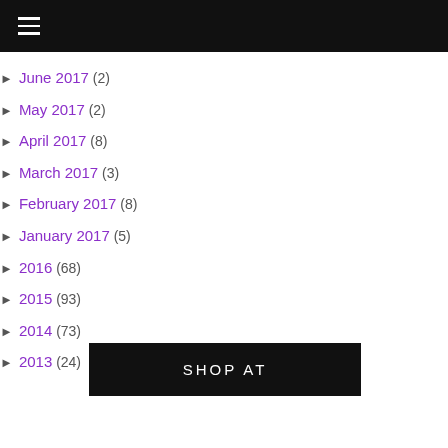≡ (hamburger menu)
► June 2017 (2)
► May 2017 (2)
► April 2017 (8)
► March 2017 (3)
► February 2017 (8)
► January 2017 (5)
► 2016 (68)
► 2015 (93)
► 2014 (73)
► 2013 (24)
SHOP AT